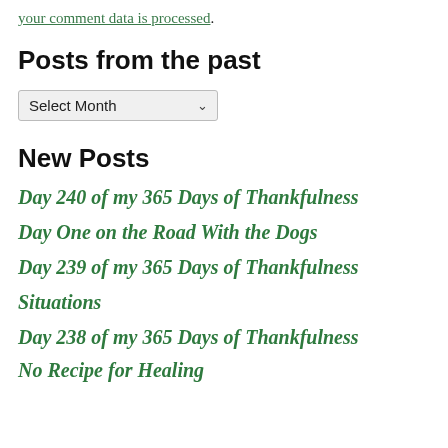your comment data is processed.
Posts from the past
Select Month
New Posts
Day 240 of my 365 Days of Thankfulness
Day One on the Road With the Dogs
Day 239 of my 365 Days of Thankfulness
Situations
Day 238 of my 365 Days of Thankfulness
No Recipe for Healing